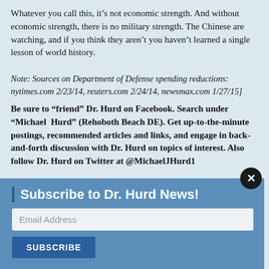Whatever you call this, it’s not economic strength. And without economic strength, there is no military strength. The Chinese are watching, and if you think they aren’t you haven’t learned a single lesson of world history.
Note: Sources on Department of Defense spending reductions: nytimes.com 2/23/14, reuters.com 2/24/14, newsmax.com 1/27/15]
Be sure to “friend” Dr. Hurd on Facebook. Search under “Michael Hurd” (Rehoboth Beach DE). Get up-to-the-minute postings, recommended articles and links, and engage in back-and-forth discussion with Dr. Hurd on topics of interest. Also follow Dr. Hurd on Twitter at @MichaelJHurd1
Subscribe to Dr. Hurd News!
Email Address
SUBSCRIBE